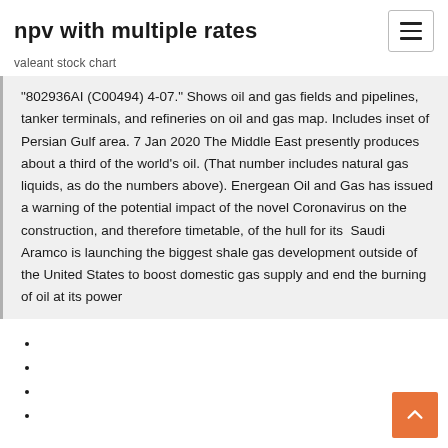npv with multiple rates
valeant stock chart
"802936AI (C00494) 4-07." Shows oil and gas fields and pipelines, tanker terminals, and refineries on oil and gas map. Includes inset of Persian Gulf area. 7 Jan 2020 The Middle East presently produces about a third of the world's oil. (That number includes natural gas liquids, as do the numbers above). Energean Oil and Gas has issued a warning of the potential impact of the novel Coronavirus on the construction, and therefore timetable, of the hull for its  Saudi Aramco is launching the biggest shale gas development outside of the United States to boost domestic gas supply and end the burning of oil at its power